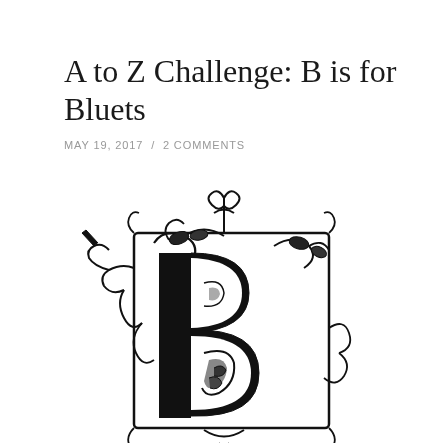A to Z Challenge: B is for Bluets
MAY 19, 2017  /  2 COMMENTS
[Figure (illustration): Ornate decorative capital letter B with intricate flourishes, scrollwork, floral and leaf motifs in black ink, in the style of an illuminated manuscript initial.]